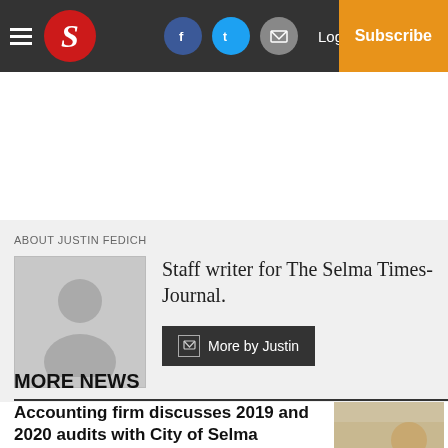Selma Times-Journal — Navigation bar with logo, social icons, Log In, Subscribe
ABOUT JUSTIN FEDICH
Staff writer for The Selma Times-Journal.
More by Justin
MORE NEWS
Accounting firm discusses 2019 and 2020 audits with City of Selma